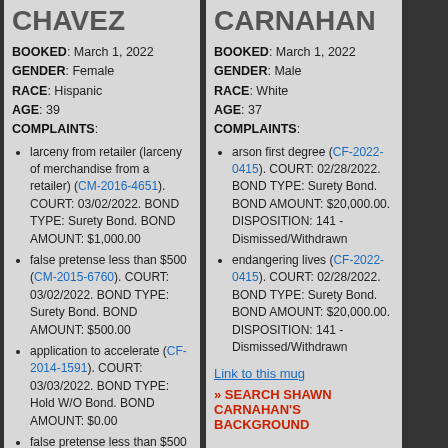CHAVEZ
BOOKED: March 1, 2022
GENDER: Female
RACE: Hispanic
AGE: 39
COMPLAINTS:
larceny from retailer (larceny of merchandise from a retailer) (CM-2016-4651). COURT: 03/02/2022. BOND TYPE: Surety Bond. BOND AMOUNT: $1,000.00
false pretense less than $500 (CM-2015-6760). COURT: 03/02/2022. BOND TYPE: Surety Bond. BOND AMOUNT: $500.00
application to accelerate (CF-2014-1591). COURT: 03/03/2022. BOND TYPE: Hold W/O Bond. BOND AMOUNT: $0.00
false pretense less than $500 (CM-2015-6754). COURT:
CARNAHAN
BOOKED: March 1, 2022
GENDER: Male
RACE: White
AGE: 37
COMPLAINTS:
arson first degree (CF-2022-0415). COURT: 02/28/2022. BOND TYPE: Surety Bond. BOND AMOUNT: $20,000.00. DISPOSITION: 141 - Dismissed/Withdrawn
endangering lives (CF-2022-0415). COURT: 02/28/2022. BOND TYPE: Surety Bond. BOND AMOUNT: $20,000.00. DISPOSITION: 141 - Dismissed/Withdrawn
Link to this mug
» SEARCH SHAWN CARNAHAN'S BACKGROUND